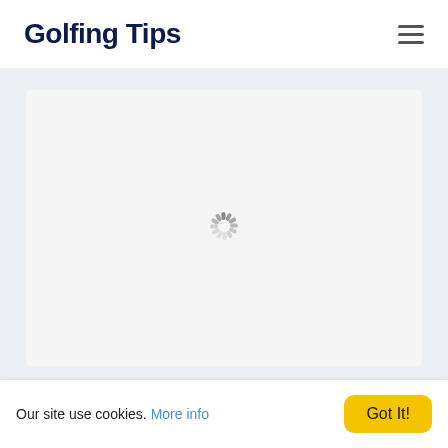Golfing Tips
[Figure (screenshot): Loading spinner (circular animated indicator) centered in a light gray card area on a light gray background]
Our site use cookies. More info
Got It!